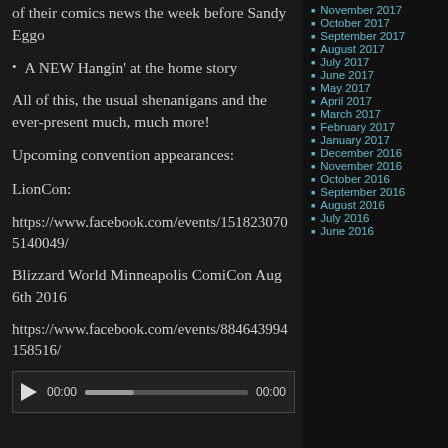of their comics news the week before Sandy Eggo
A NEW Hangin' at the home story
All of this, the usual shenanigans and the ever-present much, much more!
Upcoming convention appearances:
LionCon:
https://www.facebook.com/events/1518230705140049/
Blizzard World Minneapolis ComiCon Aug 6th 2016
https://www.facebook.com/events/884643994158516/
[Figure (other): Audio/video player with play button, time display 00:00 and 00:00, and progress bar]
November 2017
October 2017
September 2017
August 2017
July 2017
June 2017
May 2017
April 2017
March 2017
February 2017
January 2017
December 2016
November 2016
October 2016
September 2016
August 2016
July 2016
June 2016